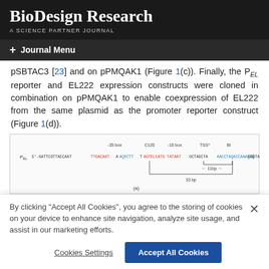BioDesign Research
A SCIENCE PARTNER JOURNAL
+ Journal Menu
pSBTAC3 [23] and on pPMQAK1 (Figure 1(c)). Finally, the P_EL reporter and EL222 expression constructs were cloned in combination on pPMQAK1 to enable coexpression of EL222 from the same plasmid as the promoter reporter construct (Figure 1(d)).
[Figure (schematic): P_EL promoter sequence schematic showing annotated positions (-35 box, C120, -10 box, TSS*, BI) and sequence 5'-GATTCGTTACCAATTGACAGTA...GCTAGCTA...CGGTAGT-3' with annotated regions and distances (33 bp, 11bp)]
By clicking "Accept All Cookies", you agree to the storing of cookies on your device to enhance site navigation, analyze site usage, and assist in our marketing efforts.
Cookies Settings
Accept All Cookies